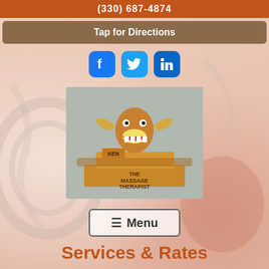(330) 687-4874
Tap for Directions
[Figure (other): Social media icons: Facebook, Twitter, LinkedIn]
[Figure (photo): Wooden carved figurine labeled 'KEN' and 'THE MASSAGE THERAPIST']
≡ Menu
Services & Rates